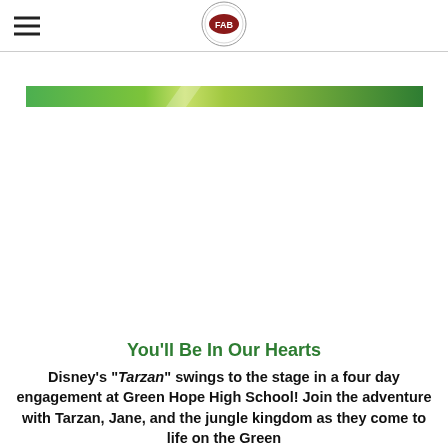FAB
[Figure (illustration): Green gradient banner/ribbon across the page]
You'll Be In Our Hearts
Disney's "Tarzan" swings to the stage in a four day engagement at Green Hope High School! Join the adventure with Tarzan, Jane, and the jungle kingdom as they come to life on the Green